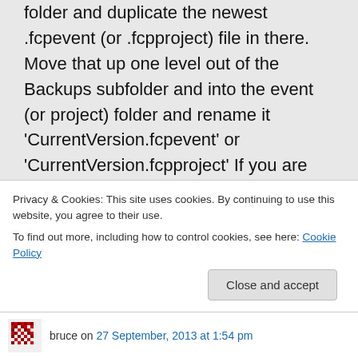folder and duplicate the newest .fcpevent (or .fcpproject) file in there. Move that up one level out of the Backups subfolder and into the event (or project) folder and rename it 'CurrentVersion.fcpevent' or 'CurrentVersion.fcpproject' If you are lucky, the older backup version of the event or project won't be damaged in such a way that causes Final Cut to crash when opening.
I'm sorry I can't be more help. I hope you
Privacy & Cookies: This site uses cookies. By continuing to use this website, you agree to their use.
To find out more, including how to control cookies, see here: Cookie Policy
Close and accept
bruce on 27 September, 2013 at 1:54 pm